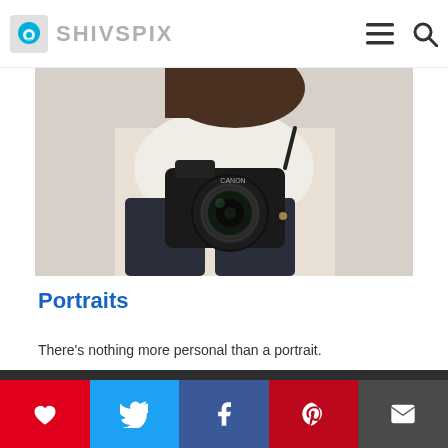SHIVSPIX
[Figure (photo): Woman holding a Canon DSLR camera, seated, wearing white top and dark jeans]
Portraits
There's nothing more personal than a portrait.
We use cookies to ensure that we give you the best experience on our website. If you continue to use this site we will assume that you are happy with it.